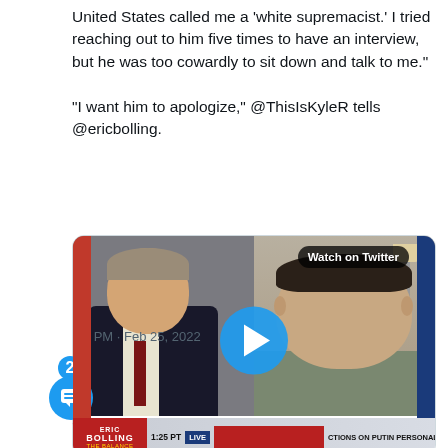United States called me a 'white supremacist.' I tried reaching out to him five times to have an interview, but he was too cowardly to sit down and talk to me." "I want him to apologize," @ThisIsKyleR tells @ericbolling.
[Figure (screenshot): Video thumbnail of a TV interview on Eric Bolling The Balance showing two people in split screen with play button overlay and Fox News-style ticker bar reading '1:25 PT LIVE ACTIONS ON PUTIN PERSONALLY... NEW U.S. COVID GUIDELINES ALLOW N']
:37 PM · Feb 25, 2022
5.1K  Reply  Copy link